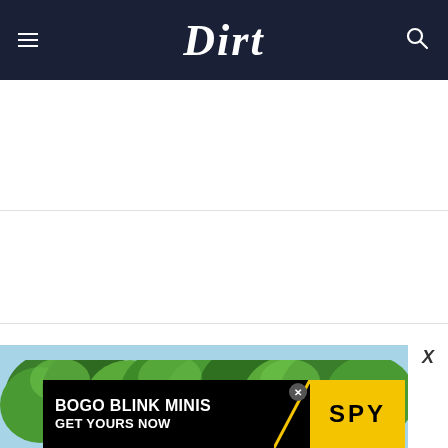Dirt
[Figure (screenshot): Website screenshot of Dirt.com showing navigation header with hamburger menu, Dirt logo in white script on dark navy background, and search icon. Below are two white content sections separated by horizontal lines. At the bottom is a partial property photo with trees and sky, overlaid by an advertisement banner reading 'BOGO BLINK MINIS GET YOURS NOW' with SPY branding in yellow and black.]
BOGO BLINK MINIS GET YOURS NOW — SPY advertisement banner